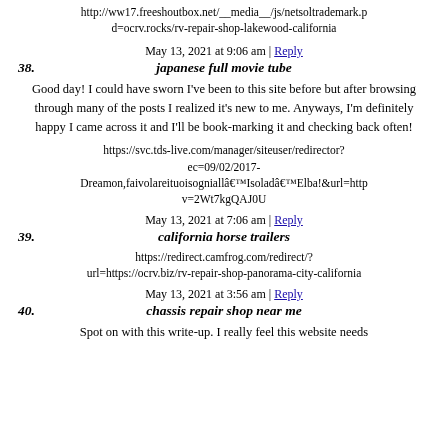http://ww17.freeshoutbox.net/__media__/js/netsoltrademark.p d=ocrv.rocks/rv-repair-shop-lakewood-california
May 13, 2021 at 9:06 am | Reply
38. japanese full movie tube
Good day! I could have sworn I've been to this site before but after browsing through many of the posts I realized it's new to me. Anyways, I'm definitely happy I came across it and I'll be book-marking it and checking back often!
https://svc.tds-live.com/manager/siteuser/redirector?ec=09/02/2017-Dreamon,faivolareituoisogniallâ€™Isoladâ€™Elba!&url=http v=2Wt7kgQAJ0U
May 13, 2021 at 7:06 am | Reply
39. california horse trailers
https://redirect.camfrog.com/redirect/?url=https://ocrv.biz/rv-repair-shop-panorama-city-california
May 13, 2021 at 3:56 am | Reply
40. chassis repair shop near me
Spot on with this write-up. I really feel this website needs